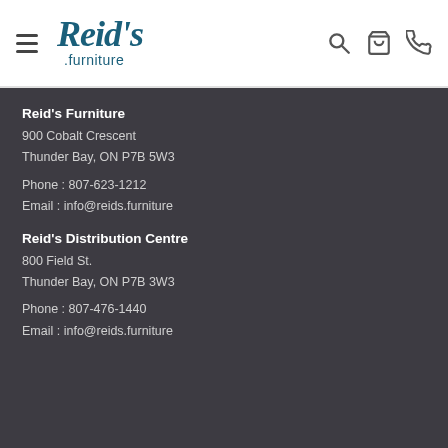[Figure (logo): Reid's Furniture logo with stylized script text and .furniture below]
Reid's Furniture
900 Cobalt Crescent
Thunder Bay, ON P7B 5W3
Phone: 807-623-1212
Email: info@reids.furniture
Reid's Distribution Centre
800 Field St.
Thunder Bay, ON P7B 3W3
Phone: 807-476-1440
Email: info@reids.furniture